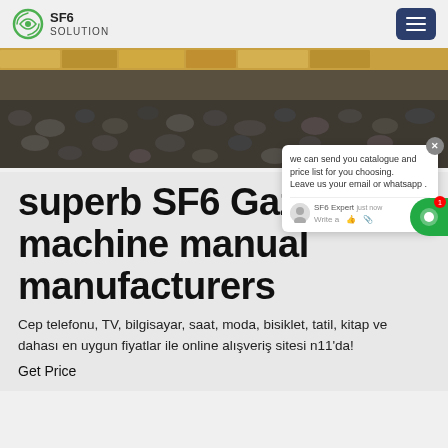SF6 SOLUTION
[Figure (photo): Hero banner photo showing rocks/gravel and wooden planks/construction materials outdoors]
superb SF6 Gazlı machine manual manufacturers
Cep telefonu, TV, bilgisayar, saat, moda, bisiklet, tatil, kitap ve dahası en uygun fiyatlar ile online alışveriş sitesi n11'da!
Get Price